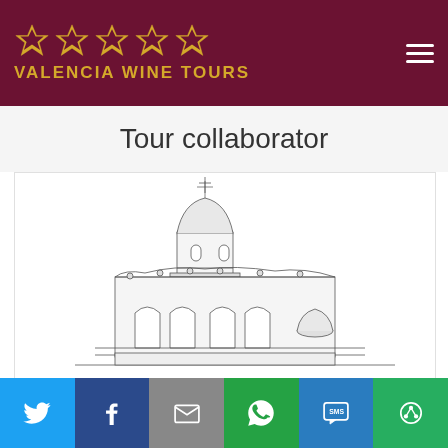[Figure (logo): Valencia Wine Tours logo: five gold stars above the text 'VALENCIA WINE TOURS' in gold on a dark red/maroon background, with a hamburger menu icon in the top right corner]
Tour collaborator
[Figure (illustration): Line art illustration of a historic building with a domed tower and ornate architectural details, drawn in black and white pen style]
[Figure (infographic): Social sharing bar with six buttons: Twitter (blue), Facebook (dark blue), Email (grey), WhatsApp (green), SMS (blue), and More/share (green) icons]